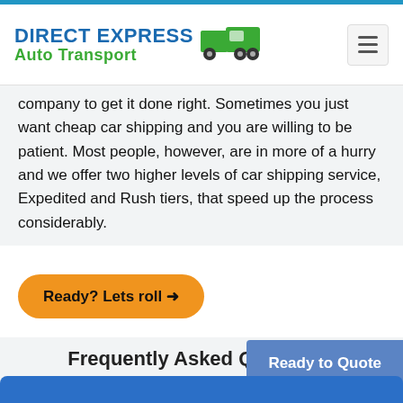DIRECT EXPRESS Auto Transport
company to get it done right. Sometimes you just want cheap car shipping and you are willing to be patient. Most people, however, are in more of a hurry and we offer two higher levels of car shipping service, Expedited and Rush tiers, that speed up the process considerably.
Ready? Lets roll →
Frequently Asked Questions About Berkley, MI Car Transport
Ready to Quote